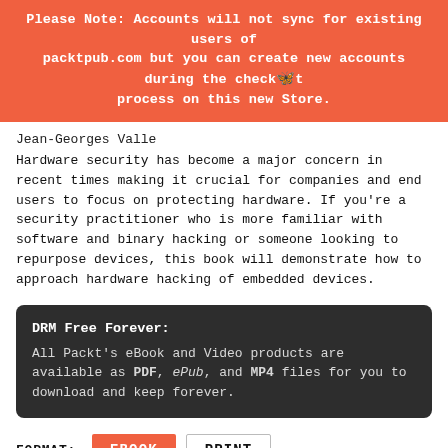Please Note: Accounts will not sync for existing users of packtpub.com but you can create new accounts during the checkout process on this new Store.
Jean-Georges Valle
Hardware security has become a major concern in recent times making it crucial for companies and end users to focus on protecting hardware. If you're a security practitioner who is more familiar with software and binary hacking or someone looking to repurpose devices, this book will demonstrate how to approach hardware hacking of embedded devices.
DRM Free Forever:
All Packt's eBook and Video products are available as PDF, ePub, and MP4 files for you to download and keep forever.
FORMAT:  EBOOK  PRINT
CLEAR